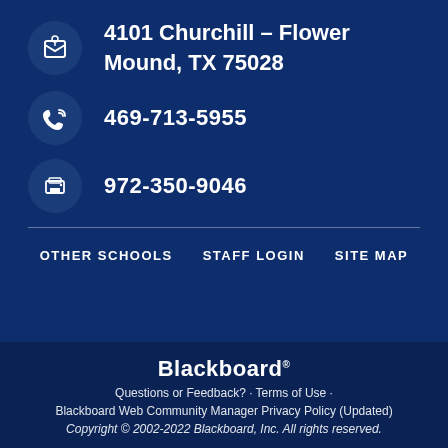4101 Churchill – Flower Mound, TX 75028
469-713-5955
972-350-9046
OTHER SCHOOLS   STAFF LOGIN   SITE MAP
Blackboard®
Questions or Feedback? · Terms of Use ·
Blackboard Web Community Manager Privacy Policy (Updated)
Copyright © 2002-2022 Blackboard, Inc. All rights reserved.